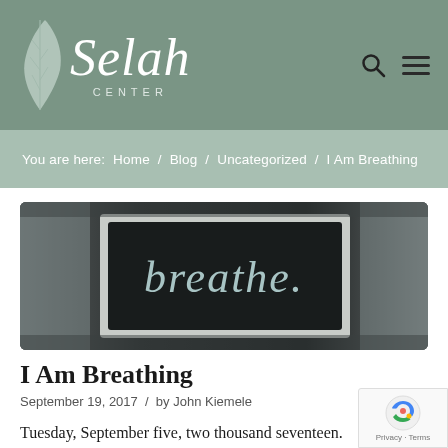Selah CENTER
You are here: Home / Blog / Uncategorized / I Am Breathing
[Figure (photo): A framed sign with the word 'breathe.' written in cursive lettering on a dark background, placed in a white frame in a doorway.]
I Am Breathing
September 19, 2017  /  by John Kiemele
Tuesday, September five, two thousand seventeen.